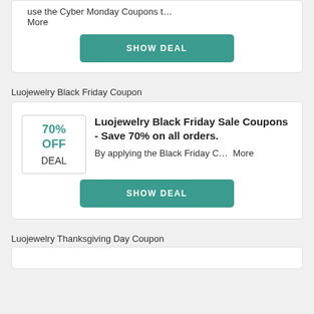use the Cyber Monday Coupons t… More
SHOW DEAL
Luojewelry Black Friday Coupon
70% OFF DEAL
Luojewelry Black Friday Sale Coupons - Save 70% on all orders.
By applying the Black Friday C… More
SHOW DEAL
Luojewelry Thanksgiving Day Coupon